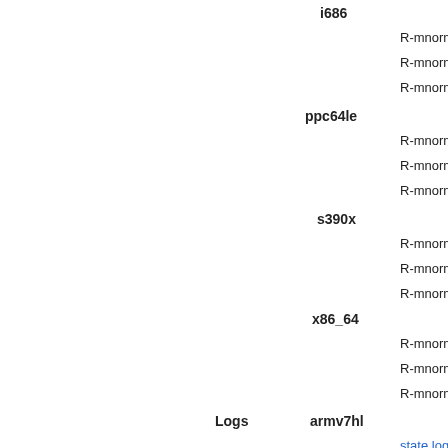i686
R-mnormt-2.0.2-1.fc33.i686.rpm (info) (dow…
R-mnormt-debuginfo-2.0.2-1.fc33.i686.rpm
R-mnormt-debugsource-2.0.2-1.fc33.i686.r…
ppc64le
R-mnormt-2.0.2-1.fc33.ppc64le.rpm (info) (…
R-mnormt-debuginfo-2.0.2-1.fc33.ppc64le.r…
R-mnormt-debugsource-2.0.2-1.fc33.ppc64…
s390x
R-mnormt-2.0.2-1.fc33.s390x.rpm (info) (do…
R-mnormt-debuginfo-2.0.2-1.fc33.s390x.rpm
R-mnormt-debugsource-2.0.2-1.fc33.s390x…
x86_64
R-mnormt-2.0.2-1.fc33.x86_64.rpm (info) (d…
R-mnormt-debuginfo-2.0.2-1.fc33.x86_64.rp…
R-mnormt-debugsource-2.0.2-1.fc33.x86_6…
Logs
armv7hl
state.log
build.log
hw_info.log